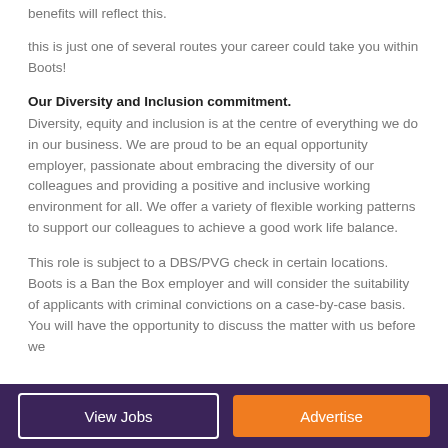benefits will reflect this.
this is just one of several routes your career could take you within Boots!
Our Diversity and Inclusion commitment.
Diversity, equity and inclusion is at the centre of everything we do in our business. We are proud to be an equal opportunity employer, passionate about embracing the diversity of our colleagues and providing a positive and inclusive working environment for all. We offer a variety of flexible working patterns to support our colleagues to achieve a good work life balance.
This role is subject to a DBS/PVG check in certain locations. Boots is a Ban the Box employer and will consider the suitability of applicants with criminal convictions on a case-by-case basis. You will have the opportunity to discuss the matter with us before we
View Jobs | Advertise